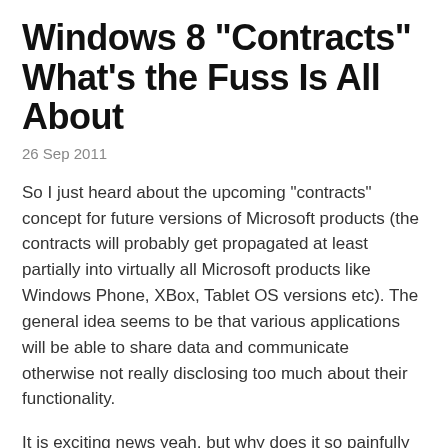Windows 8 "Contracts" What's the Fuss Is All About
26 Sep 2011
So I just heard about the upcoming "contracts" concept for future versions of Microsoft products (the contracts will probably get propagated at least partially into virtually all Microsoft products like Windows Phone, XBox, Tablet OS versions etc). The general idea seems to be that various applications will be able to share data and communicate otherwise not really disclosing too much about their functionality.
It is exciting news yeah, but why does it so painfully reminds me of Android "intents" system? To me it is exactly the same. Although some sources say it has some ideas similar to what former Microsoft Chief Software Architect Ray Ozzie's proposed as the "universal